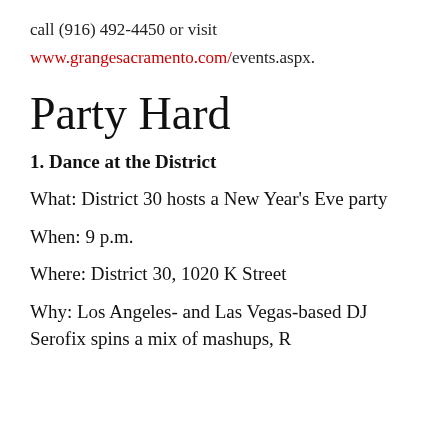call (916) 492-4450 or visit www.grangesacramento.com/events.aspx.
Party Hard
1. Dance at the District
What: District 30 hosts a New Year's Eve party
When: 9 p.m.
Where: District 30, 1020 K Street
Why: Los Angeles- and Las Vegas-based DJ Serofix spins a mix of mashups, R…